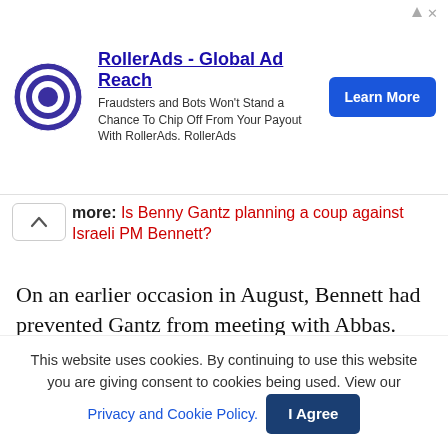[Figure (other): RollerAds advertisement banner with target logo icon, headline 'RollerAds - Global Ad Reach', subtext 'Fraudsters and Bots Won't Stand a Chance To Chip Off From Your Payout With RollerAds. RollerAds', and a blue 'Learn More' button]
more: Is Benny Gantz planning a coup against Israeli PM Bennett?
On an earlier occasion in August, Bennett had prevented Gantz from meeting with Abbas. Nonetheless, Gantz keeps insisting that he is the most appropriate person in the Bennett cabinet to hold discussions with Abbas. After August’s meeting between Gantz and Abbas, a senior aide to the Israeli PM had said that “Gantz is taking care of
This website uses cookies. By continuing to use this website you are giving consent to cookies being used. View our Privacy and Cookie Policy.